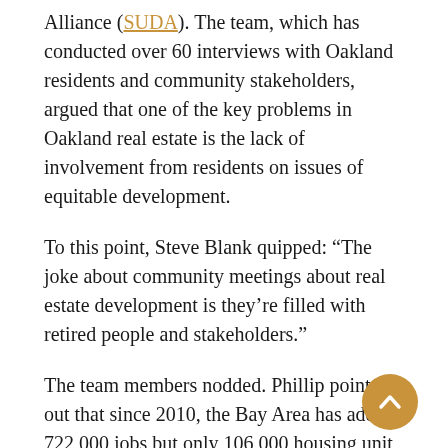Alliance (SUDA). The team, which has conducted over 60 interviews with Oakland residents and community stakeholders, argued that one of the key problems in Oakland real estate is the lack of involvement from residents on issues of equitable development.
To this point, Steve Blank quipped: “The joke about community meetings about real estate development is they’re filled with retired people and stakeholders.”
The team members nodded. Phillip pointed out that since 2010, the Bay Area has added 722,000 jobs but only 106,000 housing unit…